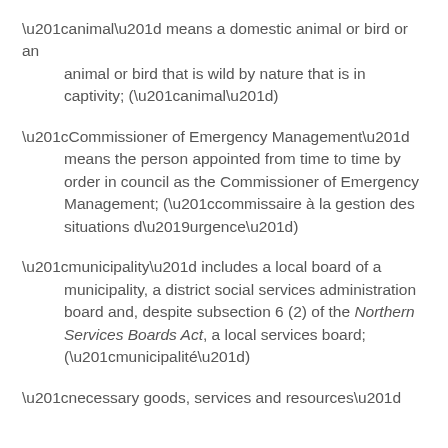“animal” means a domestic animal or bird or an animal or bird that is wild by nature that is in captivity; (“animal”)
“Commissioner of Emergency Management” means the person appointed from time to time by order in council as the Commissioner of Emergency Management; (“commissaire à la gestion des situations d’urgence”)
“municipality” includes a local board of a municipality, a district social services administration board and, despite subsection 6 (2) of the Northern Services Boards Act, a local services board; (“municipalité”)
“necessary goods, services and resources”